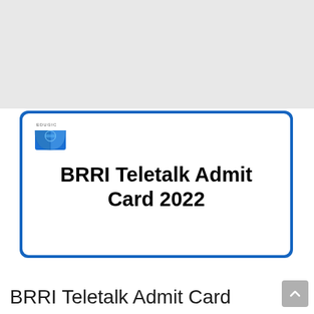[Figure (logo): EDUGIC logo - blue open book icon with globe, with text EDUGIC above]
BRRI Teletalk Admit Card 2022
BRRI Teletalk Admit Card